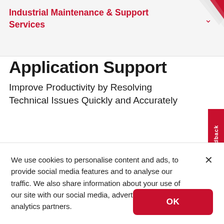Industrial Maintenance & Support Services
Application Support
Improve Productivity by Resolving Technical Issues Quickly and Accurately
Feedback
We use cookies to personalise content and ads, to provide social media features and to analyse our traffic. We also share information about your use of our site with our social media, advertising and analytics partners.
OK